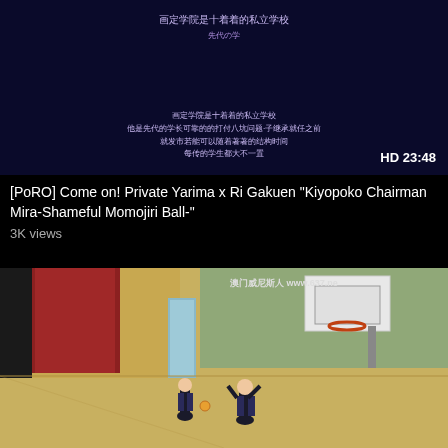[Figure (screenshot): Anime video thumbnail with dark blue background and Chinese text subtitles, HD 23:48 duration badge]
[PoRO] Come on! Private Yarima x Ri Gakuen "Kiyopoko Chairman Mira-Shameful Momojiri Ball-"
3K views
[Figure (screenshot): Anime gymnasium scene with two characters on a basketball court, basketball hoop visible, watermark www.637.net]